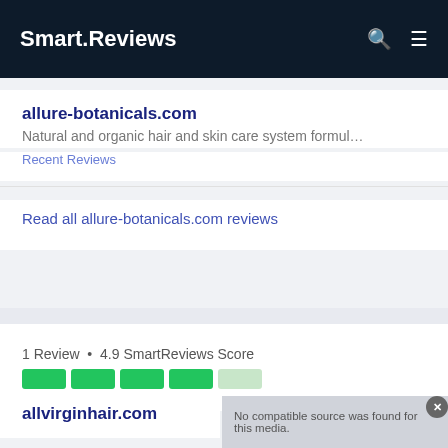Smart.Reviews
allure-botanicals.com
Natural and organic hair and skin care system formul…
Recent Reviews
Read all allure-botanicals.com reviews
1 Review • 4.9 SmartReviews Score
allvirginhair.com
No compatible source was found for this media.